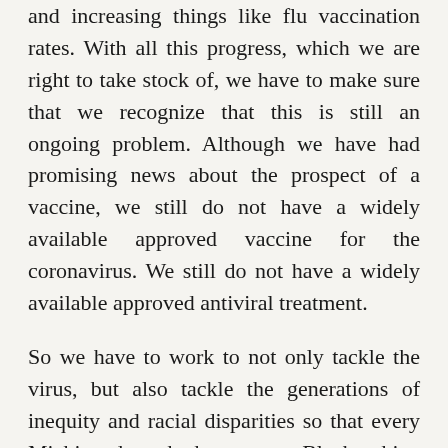and increasing things like flu vaccination rates. With all this progress, which we are right to take stock of, we have to make sure that we recognize that this is still an ongoing problem. Although we have had promising news about the prospect of a vaccine, we still do not have a widely available approved vaccine for the coronavirus. We still do not have a widely available approved antiviral treatment.
So we have to work to not only tackle the virus, but also tackle the generations of inequity and racial disparities so that every Michigander, whether you are Black, white, or some other race or ethnicity, that you are able to pursue your best self, to live your happiness, and to let your imagination run wild, frankly, here in the state of Michigan.